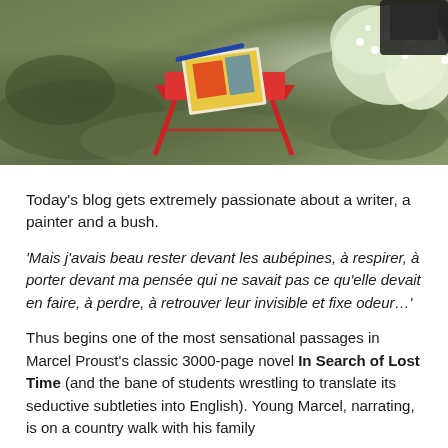[Figure (photo): Outdoor garden scene with a red folding table holding a book with a colorful cover, set on grass with white flowering bush in background]
Today's blog gets extremely passionate about a writer, a painter and a bush.
'Mais j'avais beau rester devant les aubépines, à respirer, à porter devant ma pensée qui ne savait pas ce qu'elle devait en faire, à perdre, à retrouver leur invisible et fixe odeur…'
Thus begins one of the most sensational passages in Marcel Proust's classic 3000-page novel In Search of Lost Time (and the bane of students wrestling to translate its seductive subtleties into English). Young Marcel, narrating, is on a country walk with his family